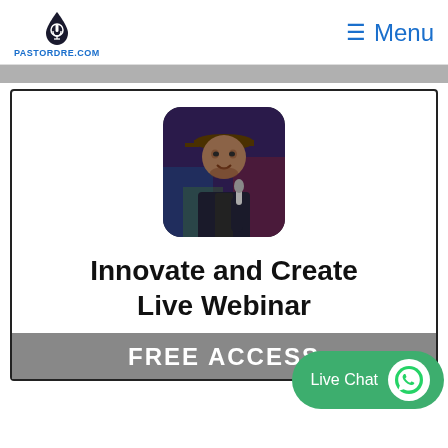PASTORDRE.COM — Menu
[Figure (photo): Photo of a man wearing a cap and holding a microphone, speaking at an event with colorful background]
Innovate and Create Live Webinar
FREE ACCESS
Live Chat